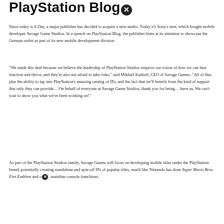PlayStation Blog
Since today is A Day, a major publisher has decided to acquire a new studio. Today it's Sony's turn, which bought mobile developer Savage Game Studios. In a speech on PlayStation Blog, the publisher hints at its intention to showcase the German outlet as part of its new mobile development division.
"We made this deal because we believe the leadership of PlayStation Studios respects our vision of how we can best function and thrive, and they're also not afraid to take risks," said Mikhail Katkoff, CEO of Savage Games. "All of that, plus the ability to tap into PlayStation's amazing catalog of IPs, and the fact that we'll benefit from the kind of support that only they can provide... On behalf of everyone at Savage Game Studios, thank you for being... have us. We can't wait to show you what we've been working on!"
As part of the PlayStation Studios family, Savage Games will focus on developing mobile titles under the PlayStation brand, potentially creating standalone and spin-off IPs of popular titles, much like Nintendo has done Super Mario Bros. Fire Emblem and other mainline console franchises.